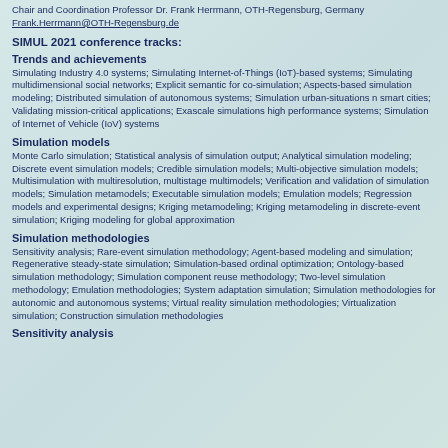Chair and Coordination Professor Dr. Frank Herrmann, OTH-Regensburg, Germany Frank.Herrmann@OTH-Regensburg.de
SIMUL 2021 conference tracks:
Trends and achievements
Simulating Industry 4.0 systems; Simulating Internet-of-Things (IoT)-based systems; Simulating multidimensional social networks; Explicit semantic for co-simulation; Aspects-based simulation modeling; Distributed simulation of autonomous systems; Simulation urban-situations n smart cities; Validating mission-critical applications; Exascale simulations high performance systems; Simulation of Internet of Vehicle (IoV) systems
Simulation models
Monte Carlo simulation; Statistical analysis of simulation output; Analytical simulation modeling; Discrete event simulation models; Credible simulation models; Multi-objective simulation models; Multisimulation with multiresolution, multistage multimodels; Verification and validation of simulation models; Simulation metamodels; Executable simulation models; Emulation models; Regression models and experimental designs; Kriging metamodeling; Kriging metamodeling in discrete-event simulation; Kriging modeling for global approximation
Simulation methodologies
Sensitivity analysis; Rare-event simulation methodology; Agent-based modeling and simulation; Regenerative steady-state simulation; Simulation-based ordinal optimization; Ontology-based simulation methodology; Simulation component reuse methodology; Two-level simulation methodology; Emulation methodologies; System adaptation simulation; Simulation methodologies for autonomic and autonomous systems; Virtual reality simulation methodologies; Virtualization simulation; Construction simulation methodologies
Sensitivity analysis